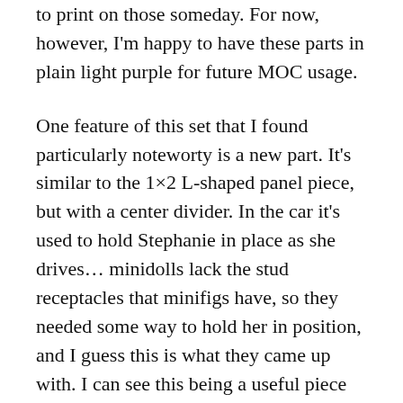to print on those someday. For now, however, I'm happy to have these parts in plain light purple for future MOC usage.
One feature of this set that I found particularly noteworty is a new part. It's similar to the 1×2 L-shaped panel piece, but with a center divider. In the car it's used to hold Stephanie in place as she drives… minidolls lack the stud receptacles that minifigs have, so they needed some way to hold her in position, and I guess this is what they came up with. I can see this being a useful piece for decorative purposes, as well as holding minifigs in place. See the photos below for illustration of how it works on both Stephanie and a generic minifig.